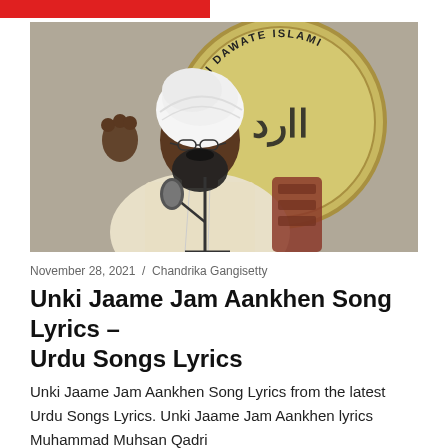[Figure (photo): A man wearing a white turban and glasses speaking into a microphone, seated in front of a circular sign reading 'Sunni Dawate Islami Movement']
November 28, 2021 / Chandrika Gangisetty
Unki Jaame Jam Aankhen Song Lyrics – Urdu Songs Lyrics
Unki Jaame Jam Aankhen Song Lyrics from the latest Urdu Songs Lyrics. Unki Jaame Jam Aankhen lyrics Muhammad Muhsan Qadri